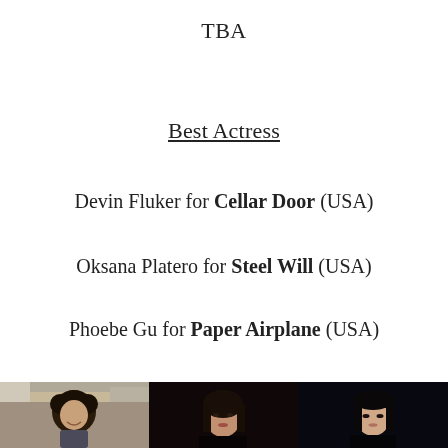TBA
Best Actress
Devin Fluker for Cellar Door (USA)
Oksana Platero for Steel Will (USA)
Phoebe Gu for Paper Airplane (USA)
[Figure (photo): Three photos side by side: a person with curly hair outdoors, a woman in a dark scene, and a woman in low light.]